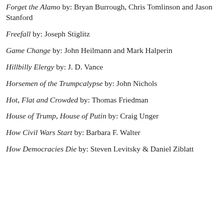Forget the Alamo by: Bryan Burrough, Chris Tomlinson and Jason Stanford
Freefall by: Joseph Stiglitz
Game Change by: John Heilmann and Mark Halperin
Hillbilly Elergy by: J. D. Vance
Horsemen of the Trumpcalypse by: John Nichols
Hot, Flat and Crowded by: Thomas Friedman
House of Trump, House of Putin by: Craig Unger
How Civil Wars Start by: Barbara F. Walter
How Democracies Die by: Steven Levitsky & Daniel Ziblatt